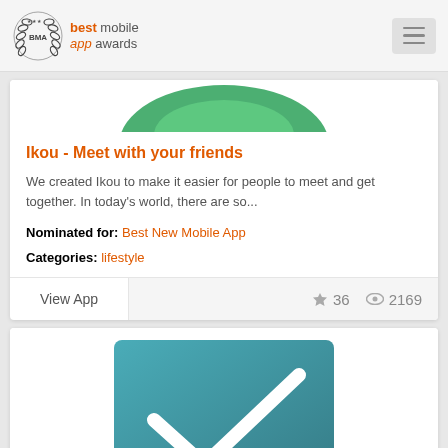[Figure (logo): Best Mobile App Awards logo with badge and text]
[Figure (illustration): Partial green shape (Ikou app icon, top portion visible)]
Ikou - Meet with your friends
We created Ikou to make it easier for people to meet and get together. In today’s world, there are so...
Nominated for: Best New Mobile App
Categories: lifestyle
View App  ★ 36  ◎ 2169
[Figure (illustration): Teal/blue-green gradient square with white checkmark, second app card image]